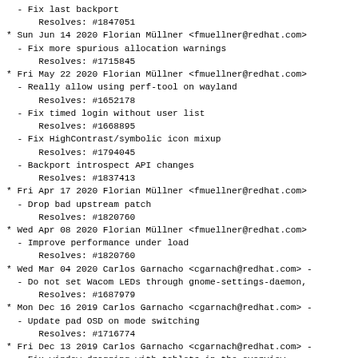- Fix last backport
      Resolves: #1847051
* Sun Jun 14 2020 Florian Müllner <fmuellner@redhat.com>
  - Fix more spurious allocation warnings
      Resolves: #1715845
* Fri May 22 2020 Florian Müllner <fmuellner@redhat.com>
  - Really allow using perf-tool on wayland
      Resolves: #1652178
  - Fix timed login without user list
      Resolves: #1668895
  - Fix HighContrast/symbolic icon mixup
      Resolves: #1794045
  - Backport introspect API changes
      Resolves: #1837413
* Fri Apr 17 2020 Florian Müllner <fmuellner@redhat.com>
  - Drop bad upstream patch
      Resolves: #1820760
* Wed Apr 08 2020 Florian Müllner <fmuellner@redhat.com>
  - Improve performance under load
      Resolves: #1820760
* Wed Mar 04 2020 Carlos Garnacho <cgarnach@redhat.com> -
  - Do not set Wacom LEDs through gnome-settings-daemon,
      Resolves: #1687979
* Mon Dec 16 2019 Carlos Garnacho <cgarnach@redhat.com> -
  - Update pad OSD on mode switching
      Resolves: #1716774
* Fri Dec 13 2019 Carlos Garnacho <cgarnach@redhat.com> -
  - Fix window dragging with tablets in the overview
      Resolves: #1716767
  - Fix high-contrast/symbolic race